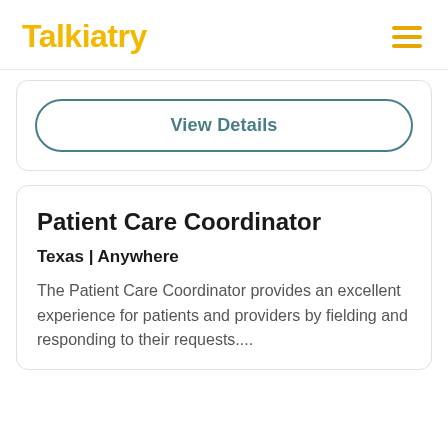Talkiatry
View Details
Patient Care Coordinator
Texas | Anywhere
The Patient Care Coordinator provides an excellent experience for patients and providers by fielding and responding to their requests....